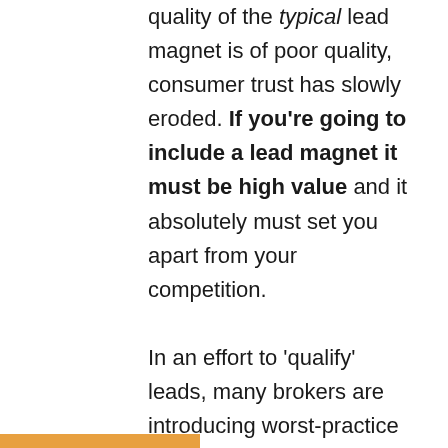quality of the typical lead magnet is of poor quality, consumer trust has slowly eroded. If you're going to include a lead magnet it must be high value and it absolutely must set you apart from your competition.

In an effort to 'qualify' leads, many brokers are introducing worst-practice funnel-blocking quiz-style questions into their funnel flow. This has the effect of disqualifying more clients than it attracts simply because most consumers are reluctant to provide the intrusive information that most forms require. Most of the quizzes purport to provide results ("Find Out if Your Qualify") when no such data